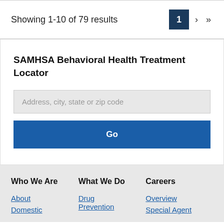Showing 1-10 of 79 results
1 › »
SAMHSA Behavioral Health Treatment Locator
Address, city, state or zip code
Go
Who We Are
What We Do
Careers
About
Domestic
Drug Prevention
Overview
Special Agent